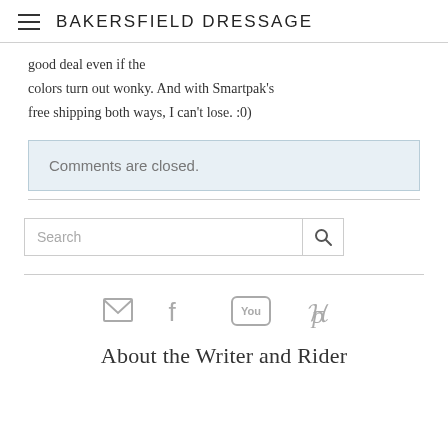BAKERSFIELD DRESSAGE
good deal even if the colors turn out wonky. And with Smartpak's free shipping both ways, I can't lose. :0)
Comments are closed.
Search
About the Writer and Rider